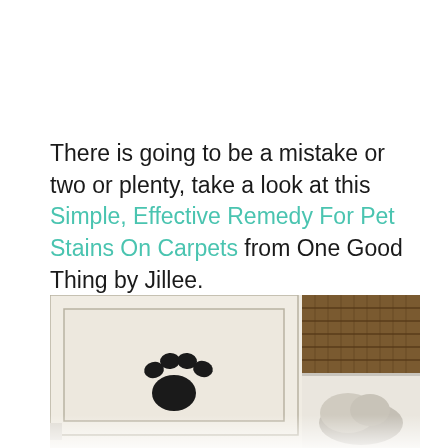There is going to be a mistake or two or plenty, take a look at this Simple, Effective Remedy For Pet Stains On Carpets from One Good Thing by Jillee.
[Figure (photo): Photo of a cream-colored cabinet door with a black paw print sticker/decal in the center, and on the right side a wicker basket on a shelf above a box with a cat inside, with a white reflection/fade at the bottom.]